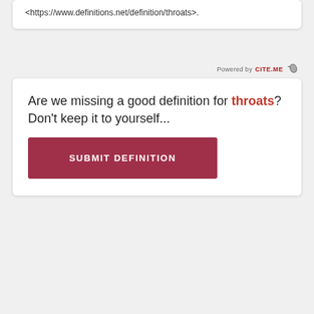<https://www.definitions.net/definition/throats>.
[Figure (logo): Powered by CITE.ME logo with bird icon]
Are we missing a good definition for throats? Don't keep it to yourself...
SUBMIT DEFINITION